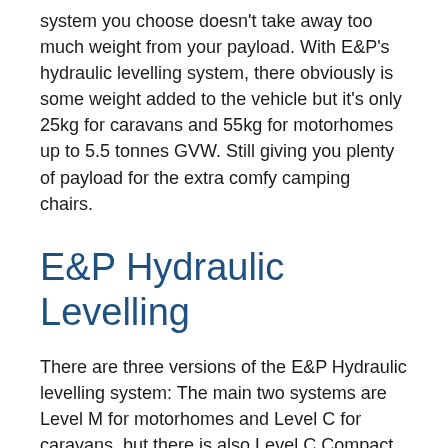system you choose doesn't take away too much weight from your payload. With E&P's hydraulic levelling system, there obviously is some weight added to the vehicle but it's only 25kg for caravans and 55kg for motorhomes up to 5.5 tonnes GVW. Still giving you plenty of payload for the extra comfy camping chairs.
E&P Hydraulic Levelling
There are three versions of the E&P Hydraulic levelling system: The main two systems are Level M for motorhomes and Level C for caravans, but there is also Level C Compact for caravans which is a semi-automatic levelling system (we call it semi-automatic because you still need to wind the corner steadies down manually so it's a little